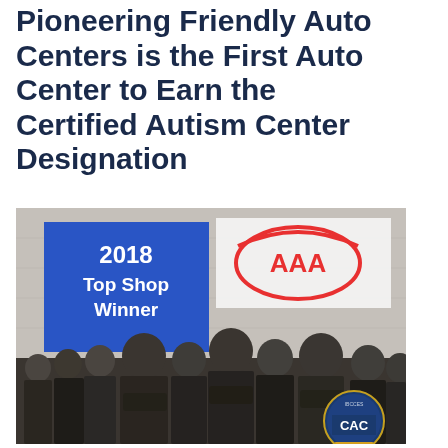Pioneering Friendly Auto Centers is the First Auto Center to Earn the Certified Autism Center Designation
[Figure (photo): Group photo of auto center team members dressed in dark uniforms, standing in front of a blue '2018 Top Shop Winner' banner and AAA logo banner. A CAC (Certified Autism Center) badge is visible in the bottom right corner.]